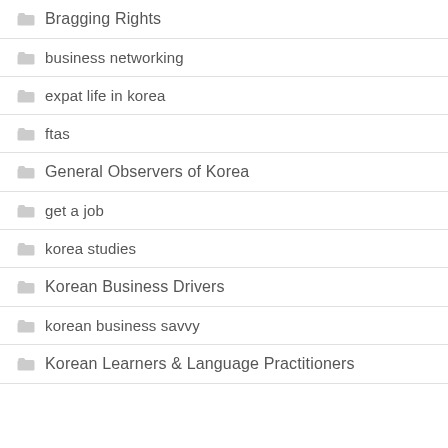Bragging Rights
business networking
expat life in korea
ftas
General Observers of Korea
get a job
korea studies
Korean Business Drivers
korean business savvy
Korean Learners & Language Practitioners